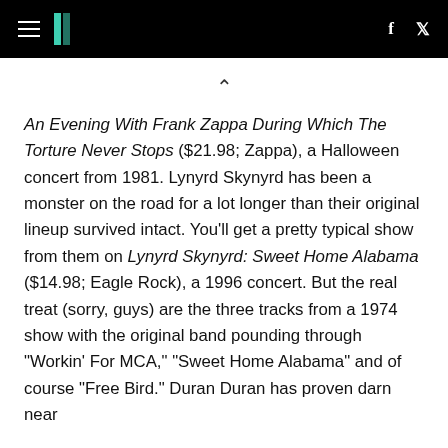HuffPost navigation header with hamburger menu, logo, Facebook and Twitter icons
An Evening With Frank Zappa During Which The Torture Never Stops ($21.98; Zappa), a Halloween concert from 1981. Lynyrd Skynyrd has been a monster on the road for a lot longer than their original lineup survived intact. You'll get a pretty typical show from them on Lynyrd Skynyrd: Sweet Home Alabama ($14.98; Eagle Rock), a 1996 concert. But the real treat (sorry, guys) are the three tracks from a 1974 show with the original band pounding through "Workin' For MCA," "Sweet Home Alabama" and of course "Free Bird." Duran Duran has proven darn near